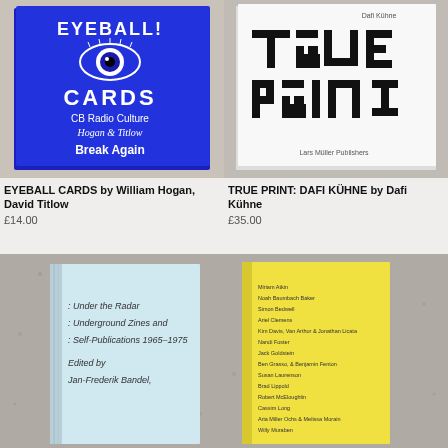[Figure (photo): Blue hardcover book 'EYEBALL CARDS CB Radio Culture Hogan & Titlow Break Again' on stone surface]
EYEBALL CARDS by William Hogan, David Titlow
£14.00
[Figure (photo): White hardcover book 'TRUE PRINT: DAFI KÜHNE' by Lars Müller Publishers on stone surface]
TRUE PRINT: DAFI KÜHNE by Dafi Kühne
£35.00
[Figure (photo): Light blue paperback 'Under the Radar Underground Zines and Self-Publications 1965–1975 Edited by Jan-Frederik Bandel' on stone surface]
[Figure (photo): Yellow book with text listing multiple authors/contributors on stone surface]